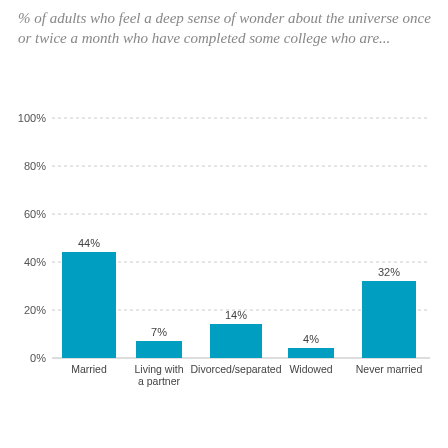% of adults who feel a deep sense of wonder about the universe once or twice a month who have completed some college who are...
[Figure (bar-chart): ]